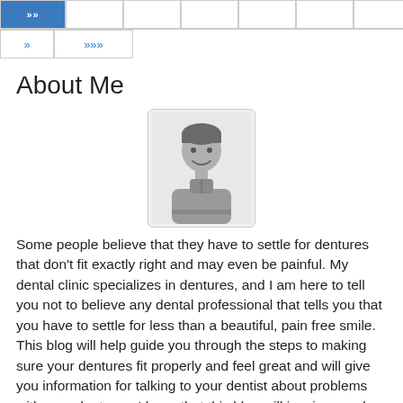» >>>
About Me
[Figure (illustration): Generic male avatar/profile placeholder illustration in grayscale, showing a man from the shoulders up with short dark hair and a neutral expression, inside a rounded rectangle border.]
Some people believe that they have to settle for dentures that don't fit exactly right and may even be painful. My dental clinic specializes in dentures, and I am here to tell you not to believe any dental professional that tells you that you have to settle for less than a beautiful, pain free smile. This blog will help guide you through the steps to making sure your dentures fit properly and feel great and will give you information for talking to your dentist about problems with your dentures. I hope that this blog will inspire people to advocate for themselves when it comes to dentures so they can have smiles to be proud of.